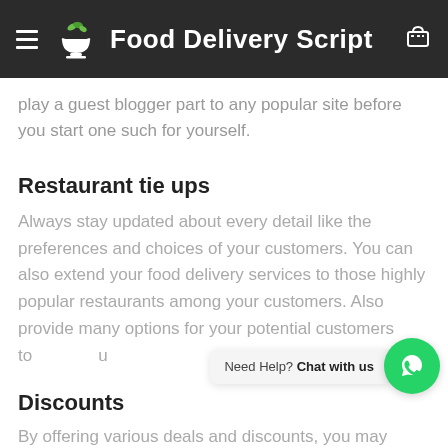Food Delivery Script
play a guest blogger part to any popular site before you start one such for yourself.
Restaurant tie ups
Always stay updated about every detail like the preferences and choices of your customers. You can also extend your food delivery services to those highly popular restaurants among your customers. Also provide many options for your potential customers to...
Discounts
By offering various deals and discounts, you may